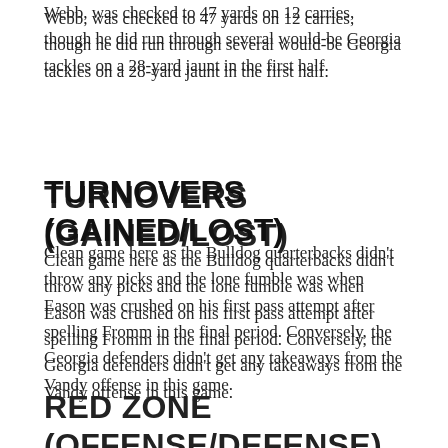Webb, was checked to 47 yards on 12 carries, though he did run through several would-be Georgia tackles on a 28-yard jaunt in the first half.
TURNOVERS (GAINED/LOST)
Clean game here as the Bulldog quarterbacks didn't throw any picks and the lone fumble was when Eason was crushed on his first pass attempt after spelling Fromm in the final period. Conversely, the Georgia defenders didn't get any takeaways from the Vandy offense in this game.
RED ZONE (OFFENSE/DEFENSE)
Can you say perfect? The Bulldogs ran their flawless scoring mark in the red zone to 23-for- 23 on the year (tied for first